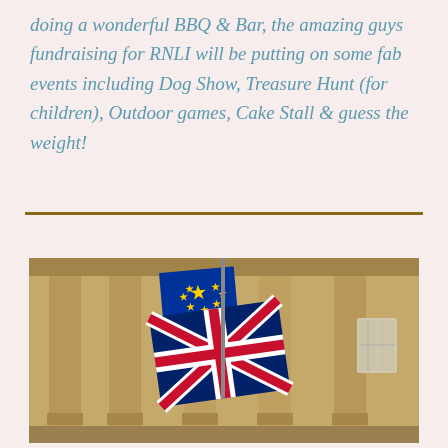doing a wonderful BBQ & Bar, the amazing guys fundraising for RNLI will be putting on some fab events including Dog Show, Treasure Hunt (for children), Outdoor games, Cake Stall & guess the weight!
[Figure (photo): Photograph of a grand stone building with tall classical columns, with a European Union flag and a Union Jack (British flag) flying in front of it.]